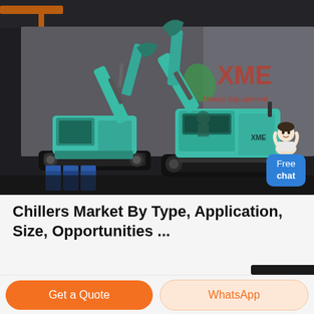[Figure (photo): Industrial warehouse interior with two teal/green mini excavators (XME brand) parked on a dark floor. The machines have articulated arms with buckets. A red XME logo and text are visible on the background wall. A customer service representative icon with a 'Free chat' bubble appears in the top-right corner overlay.]
Chillers Market By Type, Application, Size, Opportunities ...
Get a Quote
WhatsApp